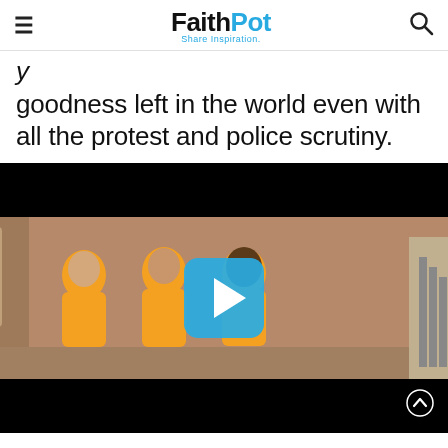FaithPot — Share Inspiration
goodness left in the world even with all the protest and police scrutiny.
[Figure (screenshot): Video thumbnail showing three men in orange prison uniforms standing in what appears to be a jail/detention facility, with a large cyan play button overlay. Watermark '1M5' visible in lower left of thumbnail.]